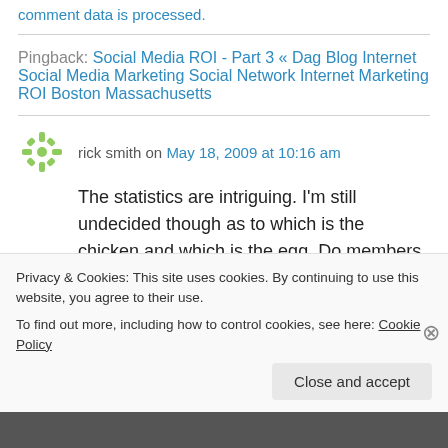comment data is processed.
Pingback: Social Media ROI - Part 3 « Dag Blog Internet Social Media Marketing Social Network Internet Marketing ROI Boston Massachusetts
rick smith on May 18, 2009 at 10:16 am
The statistics are intriguing. I'm still undecided though as to which is the chicken and which is the egg. Do members of a community engage
Privacy & Cookies: This site uses cookies. By continuing to use this website, you agree to their use. To find out more, including how to control cookies, see here: Cookie Policy